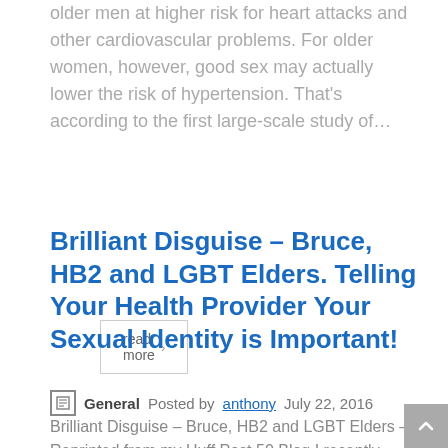older men at higher risk for heart attacks and other cardiovascular problems. For older women, however, good sex may actually lower the risk of hypertension. That's according to the first large-scale study of…
read more >
Brilliant Disguise – Bruce, HB2 and LGBT Elders. Telling Your Health Provider Your Sexual Identity is Important!
General  Posted by anthony  July 22, 2016
Brilliant Disguise – Bruce, HB2 and LGBT Elders – Reprinted from my Huff Post 50 Blog I recently